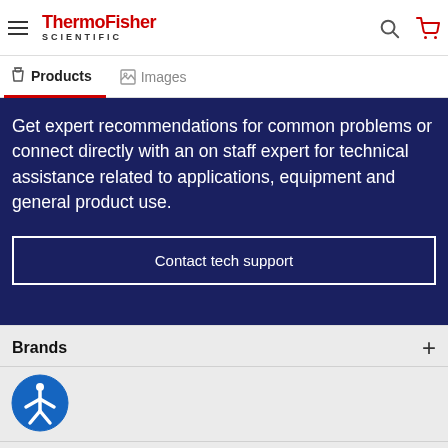ThermoFisher SCIENTIFIC — navigation header with hamburger menu, search icon, and cart icon
Products  Images — tab bar
Get expert recommendations for common problems or connect directly with an on staff expert for technical assistance related to applications, equipment and general product use.
Contact tech support
Brands
[Figure (logo): Accessibility icon — blue circle with white figure of person with arms and legs outstretched]
Shopping Tools